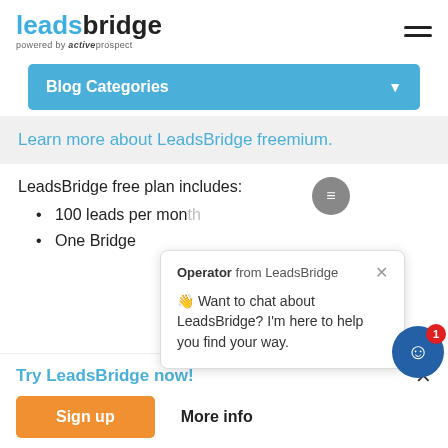[Figure (logo): LeadsBridge logo with 'powered by activeprospect' subtitle]
Blog Categories
Learn more about LeadsBridge freemium.
LeadsBridge free plan includes:
100 leads per month
One Bridge
[Figure (screenshot): Chat popup from Operator from LeadsBridge: 'Want to chat about LeadsBridge? I'm here to help you find your way.']
Try LeadsBridge now!
Sign up
More info